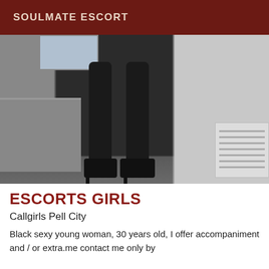SOULMATE ESCORT
[Figure (photo): Black and white photograph showing legs of a woman wearing high heels, standing in a hallway or room interior with wooden floor, a bed or couch on the left side, and a vent/unit on the right side.]
ESCORTS GIRLS
Callgirls Pell City
Black sexy young woman, 30 years old, I offer accompaniment and / or extra.me contact me only by